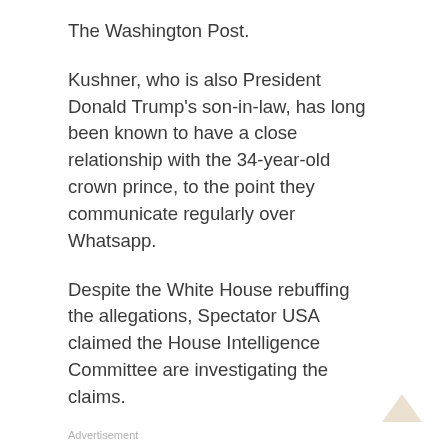The Washington Post.
Kushner, who is also President Donald Trump’s son-in-law, has long been known to have a close relationship with the 34-year-old crown prince, to the point they communicate regularly over Whatsapp.
Despite the White House rebuffing the allegations, Spectator USA claimed the House Intelligence Committee are investigating the claims.
Advertisement
Kushner has previously come under fire for lacking qualifications for the senior diplomatic role, as well as having “improper dealings” with Russian officials during Trump’s election campaign.